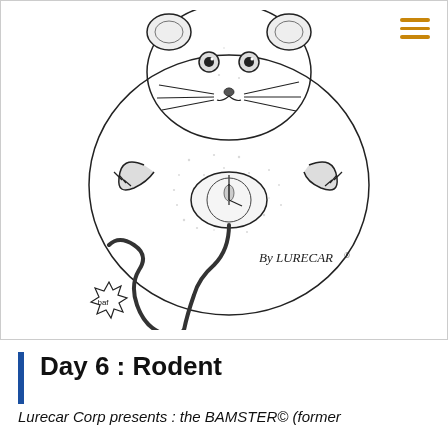[Figure (illustration): Black and white pen-and-ink style illustration of a large hamster/rodent lying on its back, holding a computer mouse (the device) on its belly. The animal has prominent whiskers, claws, and a round body with stippled shading. The mouse cord snakes down and ends in a starburst 'baf' sound effect at bottom. Text 'By LURECAR®' appears in the middle-right area of the image.]
Day 6 : Rodent
Lurecar Corp presents : the BAMSTER© (former